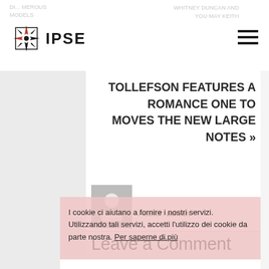IPSE — navigation header with logo and hamburger menu
TOLLEFSON FEATURES A ROMANCE ONE TO MOVES THE NEW LARGE NOTES »
[Figure (photo): Author avatar placeholder icon — grey square with white silhouette person]
Author: admin
I cookie ci aiutano a fornire i nostri servizi. Utilizzando tali servizi, accetti l'utilizzo dei cookie da parte nostra. Per saperne di più
Fatto
Leave a Comment